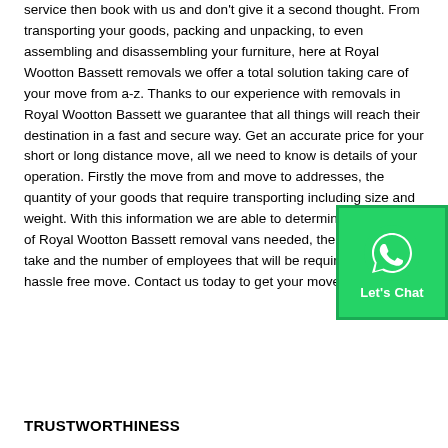service then book with us and don't give it a second thought. From transporting your goods, packing and unpacking, to even assembling and disassembling your furniture, here at Royal Wootton Bassett removals we offer a total solution taking care of your move from a-z. Thanks to our experience with removals in Royal Wootton Bassett we guarantee that all things will reach their destination in a fast and secure way. Get an accurate price for your short or long distance move, all we need to know is details of your operation. Firstly the move from and move to addresses, the quantity of your goods that require transporting including size and weight. With this information we are able to determine the number of Royal Wootton Bassett removal vans needed, the time it will take and the number of employees that will be required for your hassle free move. Contact us today to get your move booked in.
[Figure (other): WhatsApp Let's Chat button widget, green background with WhatsApp logo icon]
TRUSTWORTHINESS